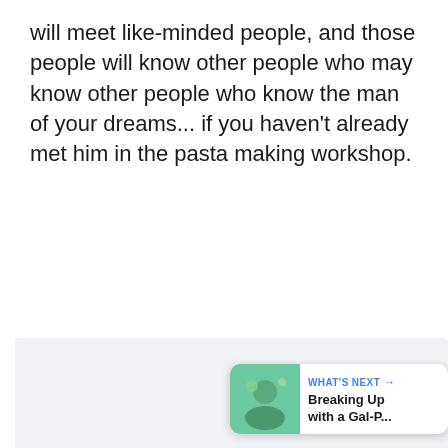will meet like-minded people, and those people will know other people who may know other people who know the man of your dreams... if you haven't already met him in the pasta making workshop.
[Figure (screenshot): Light gray placeholder image area with three dot pagination indicators, social action buttons (heart, count 1, share), and a 'What's Next' card showing 'Breaking Up with a Gal-P...']